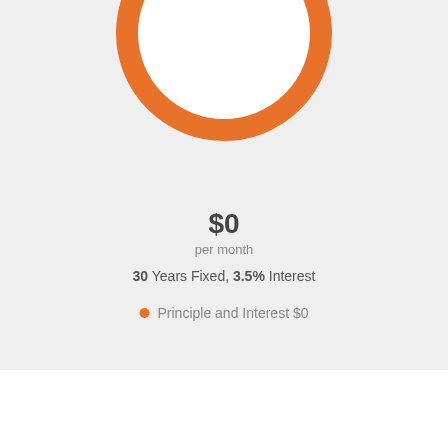[Figure (donut-chart): Orange ring/donut chart showing $0 per month mortgage payment. The ring is a thick orange circle on a light gray background, with '$0' and 'per month' text in the center.]
30 Years Fixed, 3.5% Interest
Principle and Interest $0
Similar Properties